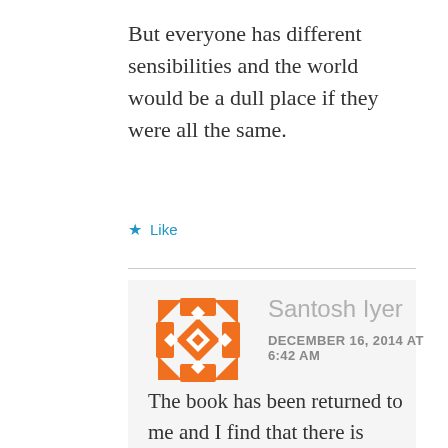But everyone has different sensibilities and the world would be a dull place if they were all the same.
★ Like
[Figure (illustration): Orange geometric/kaleidoscope pattern avatar icon for user Santosh Iyer]
Santosh Iyer
DECEMBER 16, 2014 AT 6:42 AM
The book has been returned to me and I find that there is absolutely no reference to rape in it . It is International Polygonics Ltd. 1988 edition. Thus it seems that the offending sentence has been